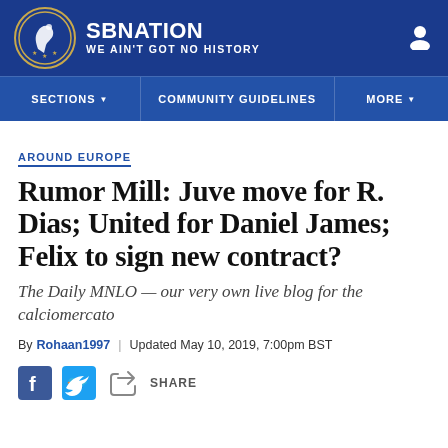SB NATION — WE AIN'T GOT NO HISTORY
SECTIONS | COMMUNITY GUIDELINES | MORE
AROUND EUROPE
Rumor Mill: Juve move for R. Dias; United for Daniel James; Felix to sign new contract?
The Daily MNLO — our very own live blog for the calciomercato
By Rohaan1997 | Updated May 10, 2019, 7:00pm BST
SHARE